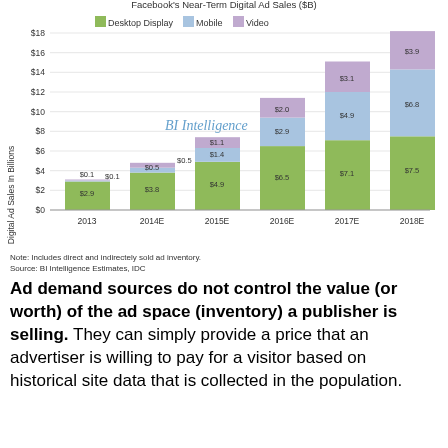[Figure (stacked-bar-chart): Facebook's Near-Term Digital Ad Sales ($B)]
Note: Includes direct and indirectely sold ad inventory.
Source: BI Intelligence Estimates, IDC
Ad demand sources do not control the value (or worth) of the ad space (inventory) a publisher is selling. They can simply provide a price that an advertiser is willing to pay for a visitor based on historical site data that is collected in the population.